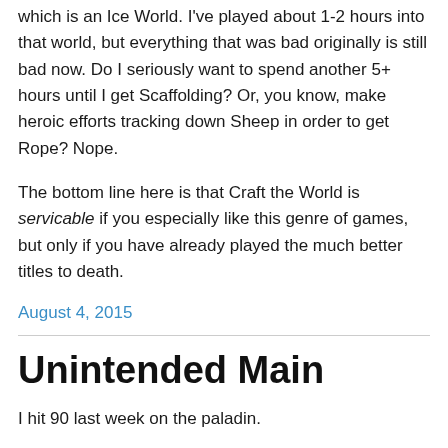...beating the first campaign world, I unlocked the next, which is an Ice World. I've played about 1-2 hours into that world, but everything that was bad originally is still bad now. Do I seriously want to spend another 5+ hours until I get Scaffolding? Or, you know, make heroic efforts tracking down Sheep in order to get Rope? Nope.

The bottom line here is that Craft the World is servicable if you especially like this genre of games, but only if you have already played the much better titles to death.
August 4, 2015
Unintended Main
I hit 90 last week on the paladin.